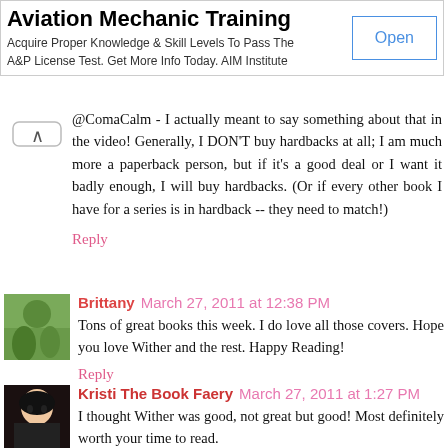[Figure (screenshot): Advertisement banner for Aviation Mechanic Training by AIM Institute with an Open button]
@ComaCalm - I actually meant to say something about that in the video! Generally, I DON'T buy hardbacks at all; I am much more a paperback person, but if it's a good deal or I want it badly enough, I will buy hardbacks. (Or if every other book I have for a series is in hardback -- they need to match!)
Reply
Brittany March 27, 2011 at 12:38 PM
Tons of great books this week. I do love all those covers. Hope you love Wither and the rest. Happy Reading!
Reply
Kristi The Book Faery March 27, 2011 at 1:27 PM
I thought Wither was good, not great but good! Most definitely worth your time to read.